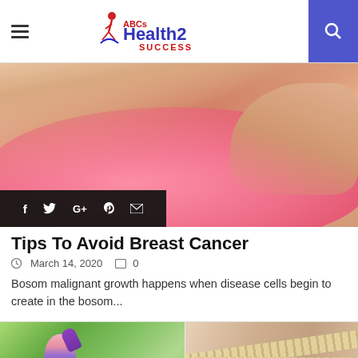ABCs Health2 Success
[Figure (photo): Person touching/examining breast area, wearing pink bra, with social share icons overlay (Facebook, Twitter, Google+, Pinterest, Email)]
Tips To Avoid Breast Cancer
March 14, 2020   0
Bosom malignant growth happens when disease cells begin to create in the bosom...
[Figure (photo): Woman drinking from a bottle outdoors, green background]
[Figure (photo): Person with measuring tape around waist, fitness concept]